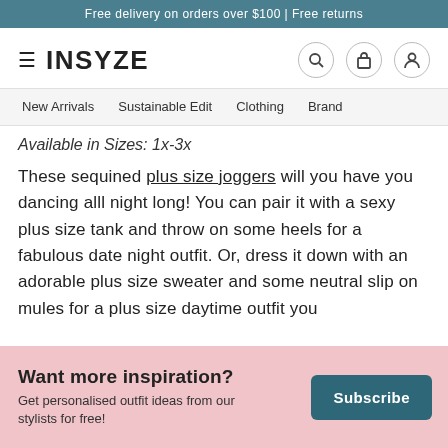Free delivery on orders over $100 | Free returns
INSYZE
New Arrivals  Sustainable Edit  Clothing  Brand
Available in Sizes: 1x-3x
These sequined plus size joggers will you have you dancing alll night long! You can pair it with a sexy plus size tank and throw on some heels for a fabulous date night outfit. Or, dress it down with an adorable plus size sweater and some neutral slip on mules for a plus size daytime outfit you
Want more inspiration?
Get personalised outfit ideas from our stylists for free!
Subscribe